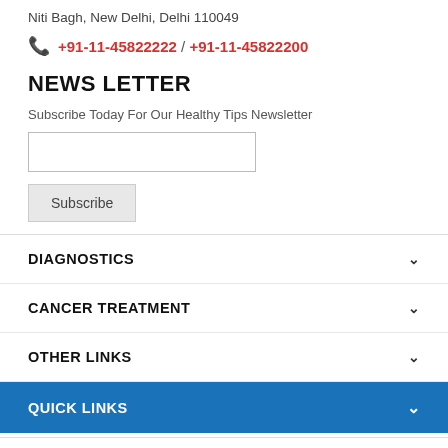Niti Bagh, New Delhi, Delhi 110049
+91-11-45822222 / +91-11-45822200
NEWS LETTER
Subscribe Today For Our Healthy Tips Newsletter
Subscribe
DIAGNOSTICS
CANCER TREATMENT
OTHER LINKS
QUICK LINKS
FOLLOW US